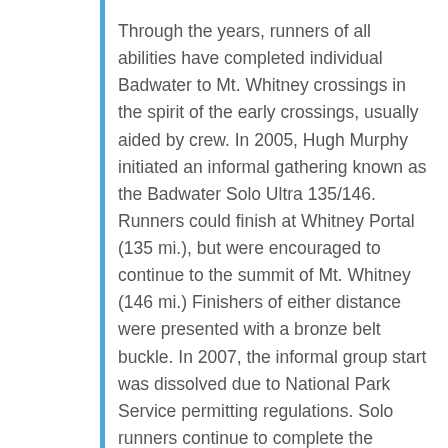Through the years, runners of all abilities have completed individual Badwater to Mt. Whitney crossings in the spirit of the early crossings, usually aided by crew. In 2005, Hugh Murphy initiated an informal gathering known as the Badwater Solo Ultra 135/146. Runners could finish at Whitney Portal (135 mi.), but were encouraged to continue to the summit of Mt. Whitney (146 mi.) Finishers of either distance were presented with a bronze belt buckle. In 2007, the informal group start was dissolved due to National Park Service permitting regulations. Solo runners continue to complete the course on an individual basis during the months of July and August. The word “solo” is used to designate runners who are not part of the official race. These Solos should not be confused with the unassisted crossings of Ulrich or Weber. In